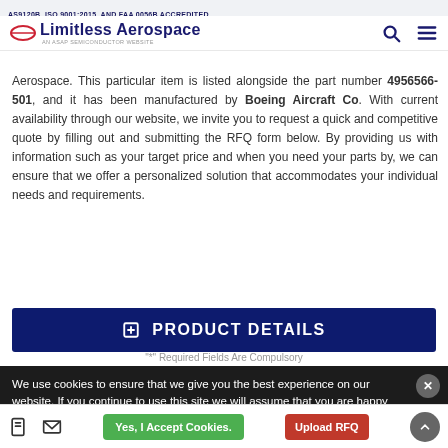AS9120B, ISO 9001:2015, AND FAA 0056B ACCREDITED
Aerospace. This particular item is listed alongside the part number 4956566-501, and it has been manufactured by Boeing Aircraft Co. With current availability through our website, we invite you to request a quick and competitive quote by filling out and submitting the RFQ form below. By providing us with information such as your target price and when you need your parts by, we can ensure that we offer a personalized solution that accommodates your individual needs and requirements.
PRODUCT DETAILS
"*" Required Fields Are Compulsory
We use cookies to ensure that we give you the best experience on our website. If you continue to use this site we will assume that you are happy with it.